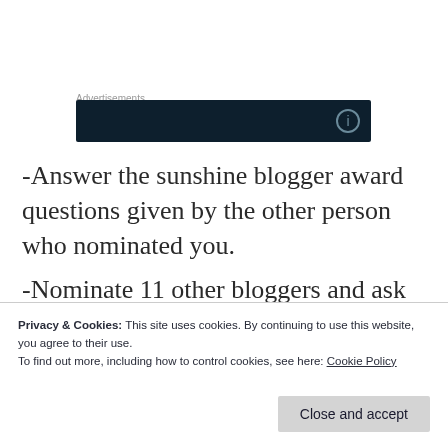Advertisements
[Figure (other): Dark advertisement banner with icon]
-Answer the sunshine blogger award questions given by the other person who nominated you.
-Nominate 11 other bloggers and ask them 11 new questions.
Privacy & Cookies: This site uses cookies. By continuing to use this website, you agree to their use.
To find out more, including how to control cookies, see here: Cookie Policy
Close and accept
(Here are the 11 question...